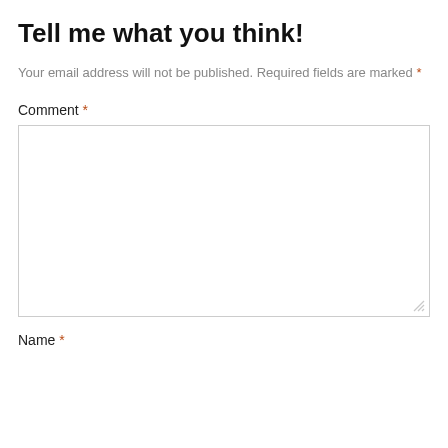Tell me what you think!
Your email address will not be published. Required fields are marked *
Comment *
[Figure (other): Empty comment textarea input box with resize handle]
Name *